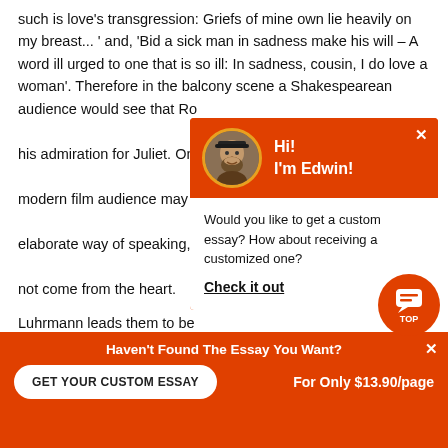such is love's transgression: Griefs of mine own lie heavily on my breast... ' and, 'Bid a sick man in sadness make his will – A word ill urged to one that is so ill: In sadness, cousin, I do love a woman'. Therefore in the balcony scene a Shakespearean audience would see that Romeo is not obviously belittling his admiration for Juliet. On the other hand, the modern film audience may think that Romeo's elaborate way of speaking, his overwrought language not come from the heart.
Luhrmann leads them to believe this. To show how important text, he uses Romeo's costume as inspiration for his costume in the ball scene: dressed as an angel. Therefore this seems to making him seem less besotted with Juliet and more imaginative with his words. In the death scene, as well as changing some of the dialogue, Luhrmann also changes the storyline.
[Figure (other): Orange popup with avatar photo of bearded man wearing cap, text 'Hi! I'm Edwin!' and below white box with text 'Would you like to get a custom essay? How about receiving a customized one?' and bold underlined link 'Check it out']
[Figure (other): Orange circular chat bubble icon bottom right]
Haven't Found The Essay You Want?
GET YOUR CUSTOM ESSAY   For Only $13.90/page